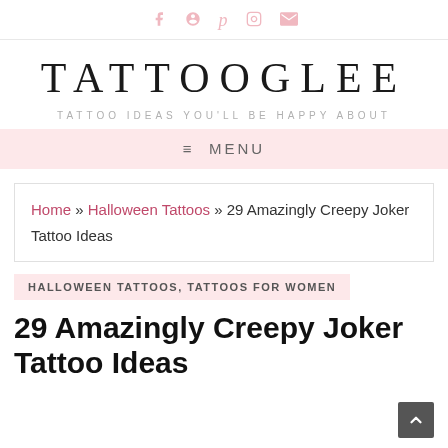f p ☰ ✉ (social icons)
TATTOOGLEE
TATTOO IDEAS YOU'LL BE HAPPY ABOUT
☰ MENU
Home » Halloween Tattoos » 29 Amazingly Creepy Joker Tattoo Ideas
HALLOWEEN TATTOOS, TATTOOS FOR WOMEN
29 Amazingly Creepy Joker Tattoo Ideas